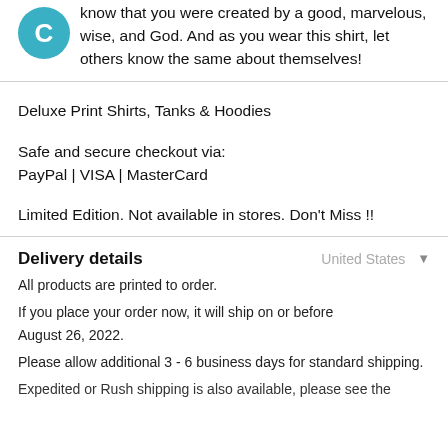know that you were created by a good, marvelous, wise, and God. And as you wear this shirt, let others know the same about themselves!
Deluxe Print Shirts, Tanks & Hoodies
Safe and secure checkout via:
PayPal | VISA | MasterCard
Limited Edition. Not available in stores. Don't Miss !!
Delivery details
All products are printed to order.
If you place your order now, it will ship on or before
August 26, 2022.
Please allow additional 3 - 6 business days for standard shipping.
Expedited or Rush shipping is also available, please see the